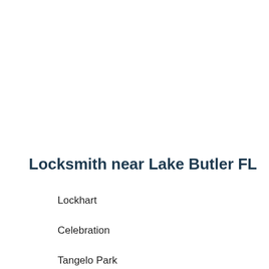Locksmith near Lake Butler FL
Lockhart
Celebration
Tangelo Park